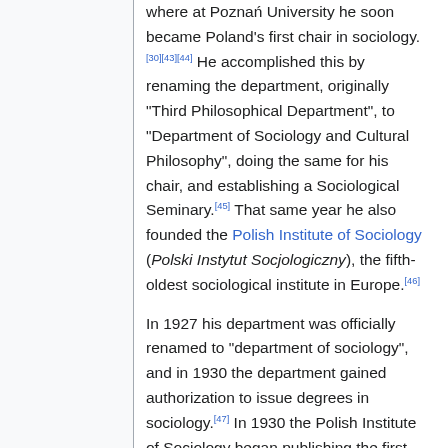where at Poznań University he soon became Poland's first chair in sociology.[30][43][44] He accomplished this by renaming the department, originally "Third Philosophical Department", to "Department of Sociology and Cultural Philosophy", doing the same for his chair, and establishing a Sociological Seminary.[45] That same year he also founded the Polish Institute of Sociology (Polski Instytut Socjologiczny), the fifth-oldest sociological institute in Europe.[46]
In 1927 his department was officially renamed to "department of sociology", and in 1930 the department gained authorization to issue degrees in sociology.[47] In 1930 the Polish Institute of Sociology began publishing the first Polish sociological journal, Przegląd Socjologiczny (The Sociological